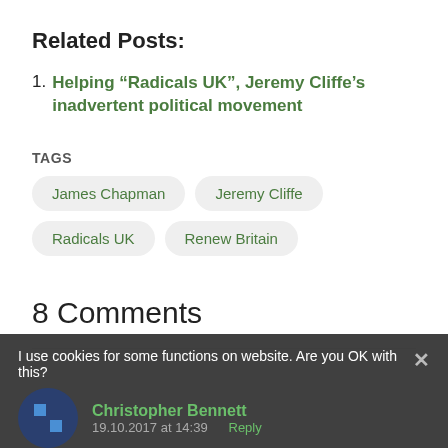Related Posts:
1. Helping “Radicals UK”, Jeremy Cliffe’s inadvertent political movement
TAGS  James Chapman  Jeremy Cliffe  Radicals UK  Renew Britain
8 Comments
I use cookies for some functions on website. Are you OK with this?
Christopher Bennett
19.10.2017 at 14:39  Reply